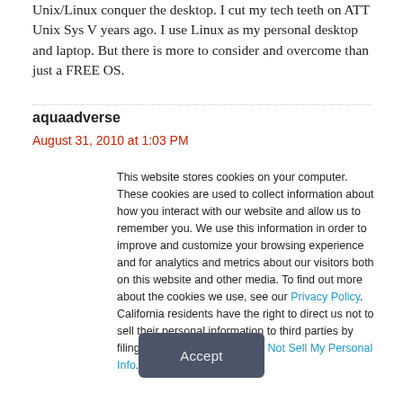Unix/Linux conquer the desktop. I cut my tech teeth on ATT Unix Sys V years ago. I use Linux as my personal desktop and laptop. But there is more to consider and overcome than just a FREE OS.
aquaadverse
August 31, 2010 at 1:03 PM
This website stores cookies on your computer. These cookies are used to collect information about how you interact with our website and allow us to remember you. We use this information in order to improve and customize your browsing experience and for analytics and metrics about our visitors both on this website and other media. To find out more about the cookies we use, see our Privacy Policy. California residents have the right to direct us not to sell their personal information to third parties by filing an Opt-Out Request: Do Not Sell My Personal Info.
Accept